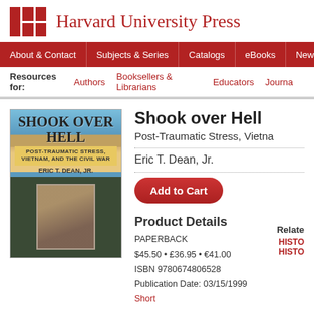[Figure (logo): Harvard University Press logo with red grid squares and serif text]
About & Contact | Subjects & Series | Catalogs | eBooks | News | Ord...
Resources for: Authors  Booksellers & Librarians  Educators  Journa...
[Figure (photo): Book cover: Shook Over Hell - Post-Traumatic Stress, Vietnam, and the Civil War by Eric T. Dean, Jr. with Civil War soldier photo]
Shook over Hell
Post-Traumatic Stress, Vietna...
Eric T. Dean, Jr.
Add to Cart
Relate...
Product Details
PAPERBACK
$45.50 • £36.95 • €41.00
ISBN 9780674806528
Publication Date: 03/15/1999
Short
HISTO...
HISTO...